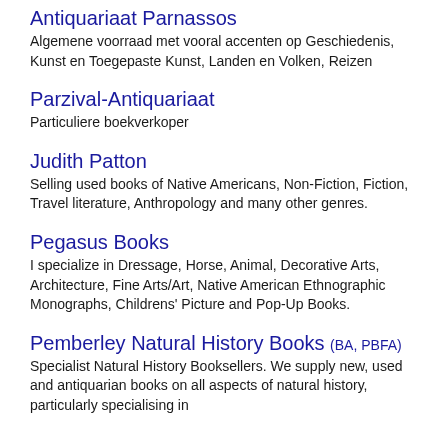Antiquariaat Parnassos
Algemene voorraad met vooral accenten op Geschiedenis, Kunst en Toegepaste Kunst, Landen en Volken, Reizen
Parzival-Antiquariaat
Particuliere boekverkoper
Judith Patton
Selling used books of Native Americans, Non-Fiction, Fiction, Travel literature, Anthropology and many other genres.
Pegasus Books
I specialize in Dressage, Horse, Animal, Decorative Arts, Architecture, Fine Arts/Art, Native American Ethnographic Monographs, Childrens' Picture and Pop-Up Books.
Pemberley Natural History Books (BA, PBFA)
Specialist Natural History Booksellers. We supply new, used and antiquarian books on all aspects of natural history, particularly specialising in